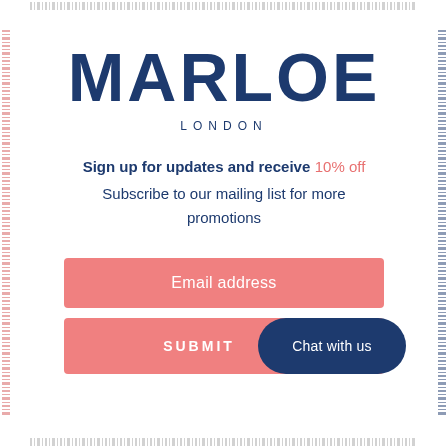[Figure (logo): MARLOE LONDON brand logo in dark navy blue with a pink/red shadow offset, with 'LONDON' in small caps below]
Sign up for updates and receive 10% off
Subscribe to our mailing list for more promotions
Email address
SUBMIT
Chat with us